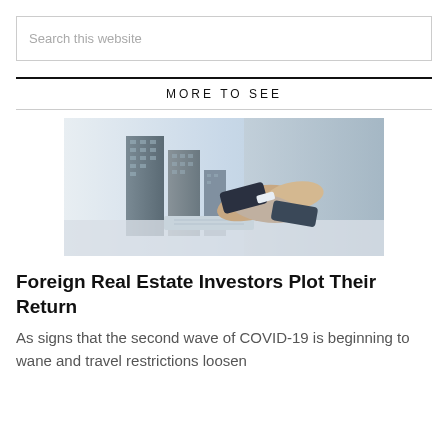Search this website
MORE TO SEE
[Figure (photo): Two people shaking hands over a desk with architectural blueprints and miniature building models in the foreground, depicting a real estate investment deal.]
Foreign Real Estate Investors Plot Their Return
As signs that the second wave of COVID-19 is beginning to wane and travel restrictions loosen